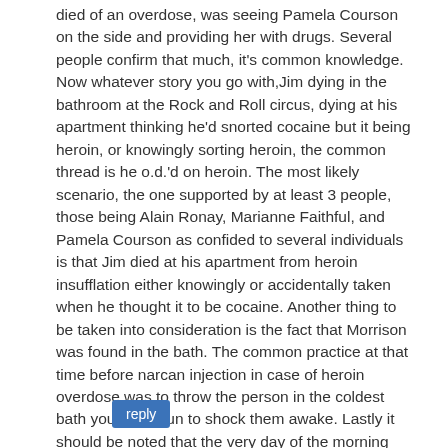died of an overdose, was seeing Pamela Courson on the side and providing her with drugs. Several people confirm that much, it's common knowledge. Now whatever story you go with,Jim dying in the bathroom at the Rock and Roll circus, dying at his apartment thinking he'd snorted cocaine but it being heroin, or knowingly sorting heroin, the common thread is he o.d.'d on heroin. The most likely scenario, the one supported by at least 3 people, those being Alain Ronay, Marianne Faithful, and Pamela Courson as confided to several individuals is that Jim died at his apartment from heroin insufflation either knowingly or accidentally taken when he thought it to be cocaine. Another thing to be taken into consideration is the fact that Morrison was found in the bath. The common practice at that time before narcan injection in case of heroin overdose was to throw the person in the coldest bath you could run to shock them awake. Lastly it should be noted that the very day of the morning that Jim Morrison died, Pamela's heroin dealer Jean de Breutil decided to bugger off in a hurry and flew to Morocco within as little as 12 hours of Jim's death. Just a wee bit suspicious no? So Jim is dead. Not hiding, not murdered, just od'd like many Parisians who ran afoul of the pure China white provided by the French Connection.
reply